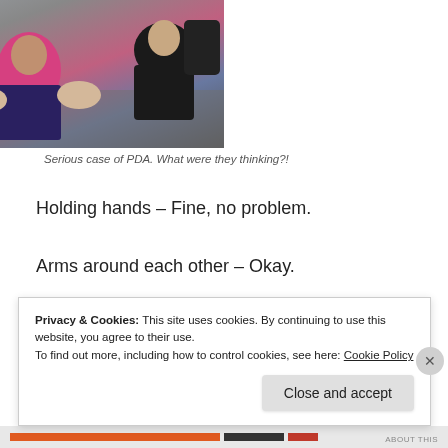[Figure (photo): Photo of people in what appears to be a crowded train or subway, with a woman in a pink top visible among seated passengers]
Serious case of PDA. What were they thinking?!
Holding hands – Fine, no problem.
Arms around each other – Okay.
Kissing on the cheek – Fine.
Privacy & Cookies: This site uses cookies. By continuing to use this website, you agree to their use.
To find out more, including how to control cookies, see here: Cookie Policy